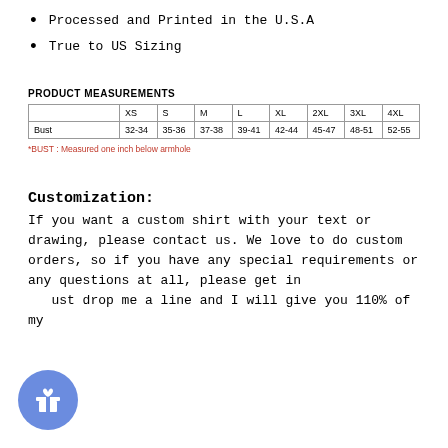Processed and Printed in the U.S.A
True to US Sizing
PRODUCT MEASUREMENTS
|  | XS | S | M | L | XL | 2XL | 3XL | 4XL |
| --- | --- | --- | --- | --- | --- | --- | --- | --- |
| Bust | 32-34 | 35-36 | 37-38 | 39-41 | 42-44 | 45-47 | 48-51 | 52-55 |
*BUST : Measured one inch below armhole
Customization:
If you want a custom shirt with your text or drawing, please contact us. We love to do custom orders, so if you have any special requirements or any questions at all, please get in just drop me a line and I will give you 110% of my